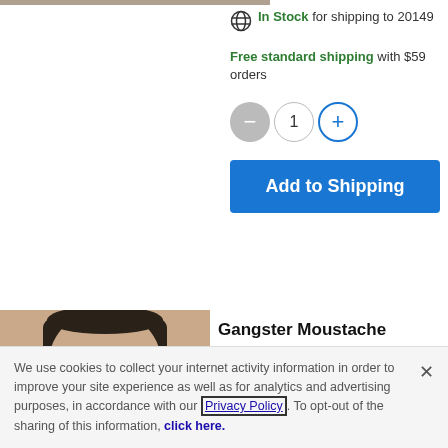[Figure (photo): Top portion of a product image (partially visible at top of page)]
In Stock for shipping to 20149
Free standard shipping with $59 orders
1
Add to Shipping
[Figure (photo): Man wearing sunglasses and a gangster moustache costume, head and upper body visible]
Gangster Moustache
$5.00
We use cookies to collect your internet activity information in order to improve your site experience as well as for analytics and advertising purposes, in accordance with our Privacy Policy. To opt-out of the sharing of this information, click here.